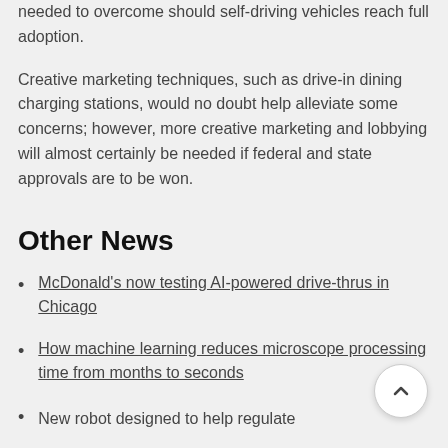needed to overcome should self-driving vehicles reach full adoption.
Creative marketing techniques, such as drive-in dining charging stations, would no doubt help alleviate some concerns; however, more creative marketing and lobbying will almost certainly be needed if federal and state approvals are to be won.
Other News
McDonald's now testing AI-powered drive-thrus in Chicago
How machine learning reduces microscope processing time from months to seconds
New robot designed to help regulate...